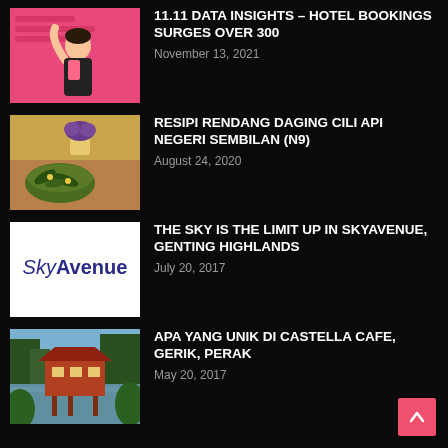[Figure (photo): Person in pink background raising arm, blog thumbnail]
11.11 DATA INSIGHTS – HOTEL BOOKINGS SURGES OVER 300
November 13, 2021
[Figure (photo): Food dish with green vegetables and purple flowers, blog thumbnail]
RESIPI RENDANG DAGING CILI API NEGERI SEMBILAN (N9)
August 24, 2020
[Figure (logo): SkyAvenue logo on white background]
THE SKY IS THE LIMIT UP IN SKYAVENUE, GENTING HIGHLANDS
July 20, 2017
[Figure (photo): Jungle cafe building over river with red roof and tropical trees, blog thumbnail]
APA YANG UNIK DI CASTELLA CAFE, GERIK, PERAK
May 20, 2017